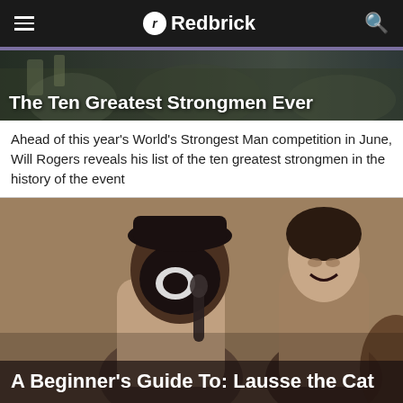Redbrick
[Figure (photo): Header image showing The Ten Greatest Strongmen Ever article cover]
The Ten Greatest Strongmen Ever
Ahead of this year's World's Strongest Man competition in June, Will Rogers reveals his list of the ten greatest strongmen in the history of the event
[Figure (photo): Photo of two people at an event, one wearing a black mask and holding a microphone, for the Lausse the Cat article]
A Beginner's Guide To: Lausse the Cat
Music Critic Raphael Kalid gives an introduction into the dark and surreal world of Lausse the Cat. Featuring a